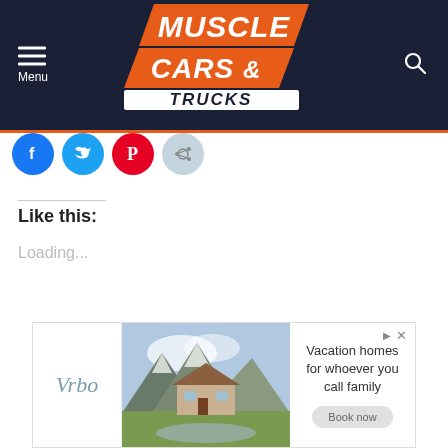MUSCLE CARS & TRUCKS
[Figure (logo): Muscle Cars & Trucks logo with orange and white text on dark navy background]
[Figure (infographic): Social sharing buttons row: Facebook (blue), Twitter (cyan), Pinterest (red), Email (gray)]
Like this:
Loading...
[Figure (photo): Vrbo advertisement banner showing a mountain vacation home with text 'Vacation homes for whoever you call family']